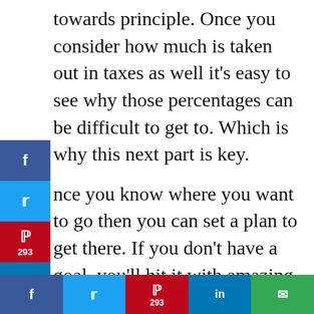towards principle. Once you consider how much is taken out in taxes as well it's easy to see why those percentages can be difficult to get to. Which is why this next part is key.
Once you know where you want to go then you can set a plan to get there. If you don't have a goal, you'll hit it with amazing accuracy. Meaning that nothing improves on its own without help. Plants grow with the sun, water, and good soil. You need ingredients to help your finances grow as well. Here are 4 that I